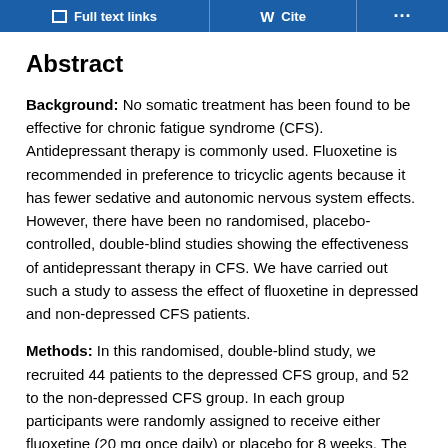Full text links | Cite | ...
Abstract
Background: No somatic treatment has been found to be effective for chronic fatigue syndrome (CFS). Antidepressant therapy is commonly used. Fluoxetine is recommended in preference to tricyclic agents because it has fewer sedative and autonomic nervous system effects. However, there have been no randomised, placebo-controlled, double-blind studies showing the effectiveness of antidepressant therapy in CFS. We have carried out such a study to assess the effect of fluoxetine in depressed and non-depressed CFS patients.
Methods: In this randomised, double-blind study, we recruited 44 patients to the depressed CFS group, and 52 to the non-depressed CFS group. In each group participants were randomly assigned to receive either fluoxetine (20 mg once daily) or placebo for 8 weeks. The